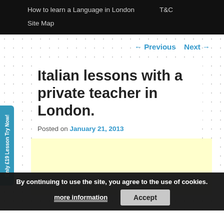How to learn a Language in London    T&C    Site Map
← Previous   Next →
Italian lessons with a private teacher in London.
Posted on January 21, 2013
[Figure (other): Advertisement banner (light yellow background)]
By continuing to use the site, you agree to the use of cookies. more information  Accept
Only £19 Lesson Try Now!